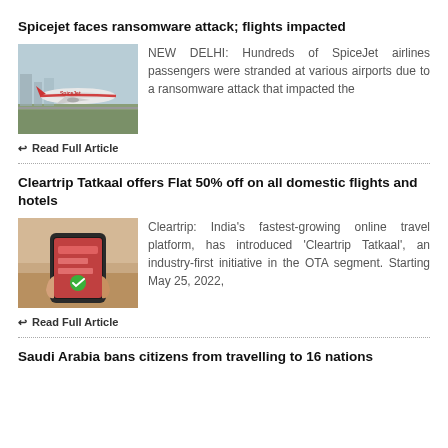Spicejet faces ransomware attack; flights impacted
[Figure (photo): SpiceJet airplane on tarmac at airport]
NEW DELHI: Hundreds of SpiceJet airlines passengers were stranded at various airports due to a ransomware attack that impacted the
Read Full Article
Cleartrip Tatkaal offers Flat 50% off on all domestic flights and hotels
[Figure (photo): Person holding a smartphone with Cleartrip app]
Cleartrip: India's fastest-growing online travel platform, has introduced 'Cleartrip Tatkaal', an industry-first initiative in the OTA segment. Starting May 25, 2022,
Read Full Article
Saudi Arabia bans citizens from travelling to 16 nations